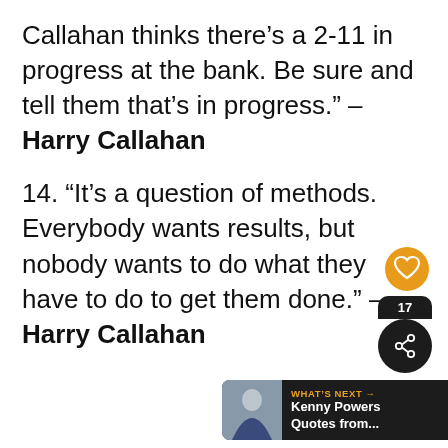Callahan thinks there’s a 2-11 in progress at the bank. Be sure and tell them that’s in progress.” – Harry Callahan
14. “It’s a question of methods. Everybody wants results, but nobody wants to do what they have to do to get them done.” – Harry Callahan
[Figure (other): Heart (like) icon button, orange outline heart on dark circle]
[Figure (other): Share button bubble: dark pill showing count '17' above a dark circle with share icon]
[Figure (other): WHAT'S NEXT banner: dark background with avatar photo of man in suit, orange label 'WHAT'S NEXT →', white text 'Kenny Powers Quotes from...']